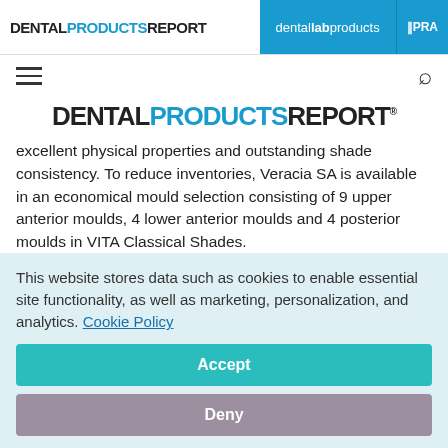DENTAL PRODUCTS REPORT | dental lab products | IPRA
[Figure (logo): Dental Products Report logo - large centered masthead]
excellent physical properties and outstanding shade consistency. To reduce inventories, Veracia SA is available in an economical mould selection consisting of 9 upper anterior moulds, 4 lower anterior moulds and 4 posterior moulds in VITA Classical Shades.
This website stores data such as cookies to enable essential site functionality, as well as marketing, personalization, and analytics. Cookie Policy
Accept
Deny